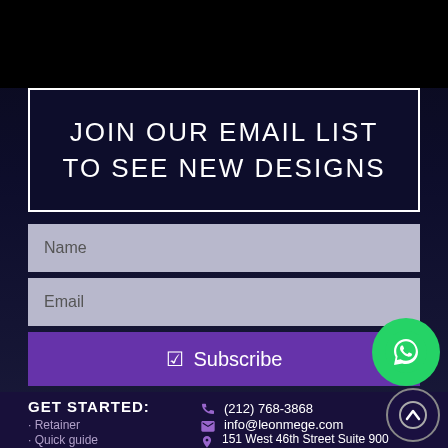JOIN OUR EMAIL LIST TO SEE NEW DESIGNS
Name
Email
✔ Subscribe
[Figure (logo): WhatsApp logo in green circle]
GET STARTED:
· Retainer
· Quick guide
· FAQ
(212) 768-3868
info@leonmege.com
151 West 46th Street Suite 900
New York, NY 10036
[Figure (illustration): Up arrow in circle button]